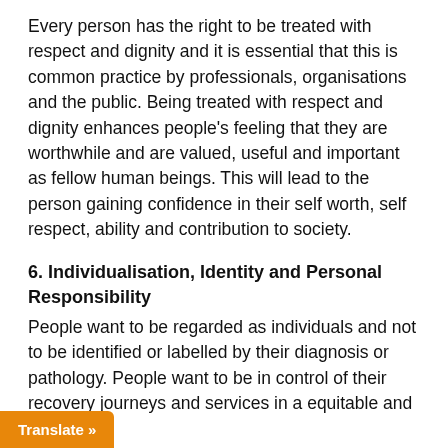Every person has the right to be treated with respect and dignity and it is essential that this is common practice by professionals, organisations and the public. Being treated with respect and dignity enhances people's feeling that they are worthwhile and are valued, useful and important as fellow human beings. This will lead to the person gaining confidence in their self worth, self respect, ability and contribution to society.
6. Individualisation, Identity and Personal Responsibility
People want to be regarded as individuals and not to be identified or labelled by their diagnosis or pathology. People want to be in control of their recovery journeys and services in a equitable and